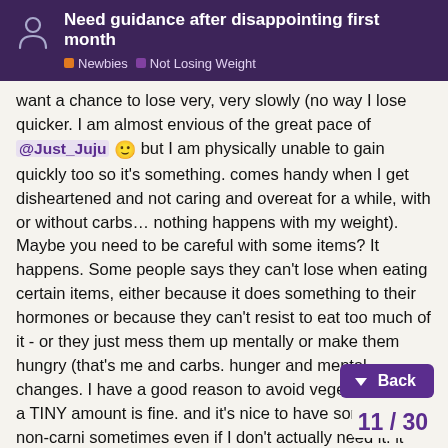Need guidance after disappointing first month | Newbies | Not Losing Weight
want a chance to lose very, very slowly (no way I lose quicker. I am almost envious of the great pace of @Just_Juju 🙂 but I am physically unable to gain quickly too so it's something. comes handy when I get disheartened and not caring and overeat for a while, with or without carbs… nothing happens with my weight).
Maybe you need to be careful with some items? It happens. Some people says they can't lose when eating certain items, either because it does something to their hormones or because they can't resist to eat too much of it - or they just mess them up mentally or make them hungry (that's me and carbs. hunger and mental changes. I have a good reason to avoid vegetables. but a TINY amount is fine. and it's nice to have something non-carni sometimes even if I don't actually need it. it doesn't matter that it's super tiny, it's often just the right amount for me. but some people can't afford even that because they are... plants, apparently).
Timing may be important. But there are so... sleep. whatever. Humans are very compl...